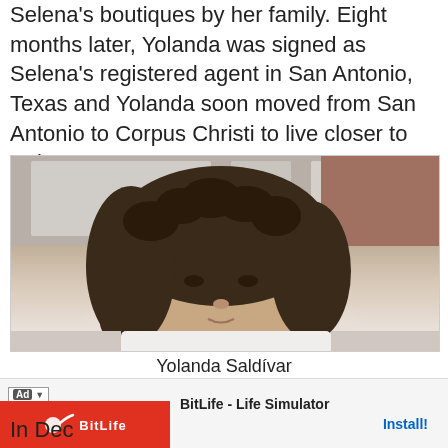Selena's boutiques by her family. Eight months later, Yolanda was signed as Selena's registered agent in San Antonio, Texas and Yolanda soon moved from San Antonio to Corpus Christi to live closer to Selena.
[Figure (photo): Photo of Yolanda Saldívar, a middle-aged woman with curly dark hair, wearing a white shirt, seated indoors]
Yolanda Saldívar
[Figure (screenshot): Advertisement overlay for BitLife - Life Simulator app with red banner and sperm icon logo, Install button]
In Dec